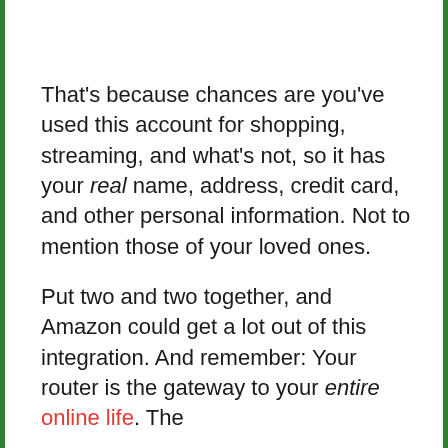That's because chances are you've used this account for shopping, streaming, and what's not, so it has your real name, address, credit card, and other personal information. Not to mention those of your loved ones.
Put two and two together, and Amazon could get a lot out of this integration. And remember: Your router is the gateway to your entire online life. The